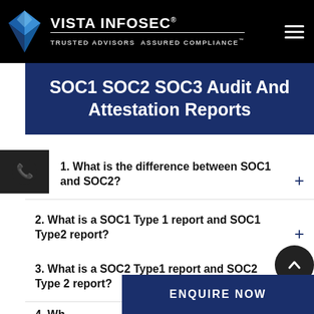[Figure (logo): Vista Infosec logo with blue angular V icon and brand text on black header background]
SOC1 SOC2 SOC3 Audit And Attestation Reports
1. What is the difference between SOC1 and SOC2?
2. What is a SOC1 Type 1 report and SOC1 Type2 report?
3. What is a SOC2 Type1 report and SOC2 Type 2 report?
4. Wh...